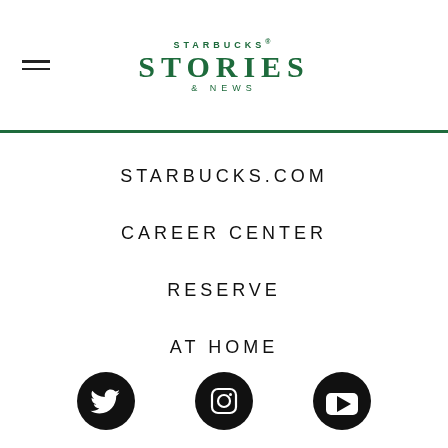STARBUCKS® STORIES & NEWS
STARBUCKS.COM
CAREER CENTER
RESERVE
AT HOME
[Figure (illustration): Three social media icons: Twitter bird, Instagram camera, YouTube play button — black circles on white background]